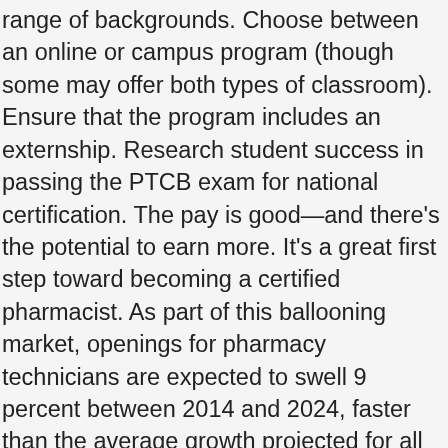range of backgrounds. Choose between an online or campus program (though some may offer both types of classroom). Ensure that the program includes an externship. Research student success in passing the PTCB exam for national certification. The pay is good—and there's the potential to earn more. It's a great first step toward becoming a certified pharmacist. As part of this ballooning market, openings for pharmacy technicians are expected to swell 9 percent between 2014 and 2024, faster than the average growth projected for all occupations during that time period (7 percent). People interested in this profession are urged to check the latest regulations posited by state and national organizations in this field. Your options on how to become a pharmacy technician will depend on the Board of Pharmacy regulations in your state. For instance, you might even work as a pharmacy tech while pursuing your formal education in your off hours. Pharmacies are popping up in nearly every corner of the retail market and they all need techs to handle inventories, assist